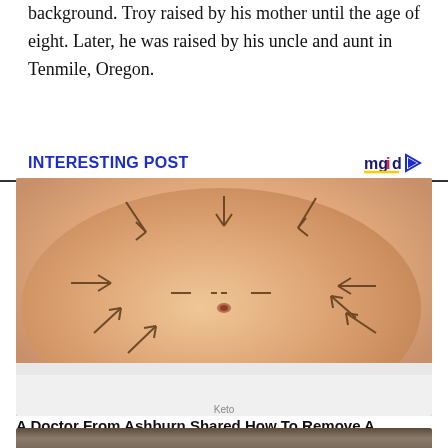background. Troy raised by his mother until the age of eight. Later, he was raised by his uncle and aunt in Tenmile, Oregon.
INTERESTING POST
[Figure (photo): A close-up of a person's abdomen with surgical marker arrows drawn on the skin, wearing white underwear. Indicates liposuction or cosmetic surgery planning marks.]
A Doctor From Ashburn Shared How To Remove A Hanging Belly!
Keto
[Figure (photo): Partial view of a person's face or upper body, cropped at the bottom of the page.]